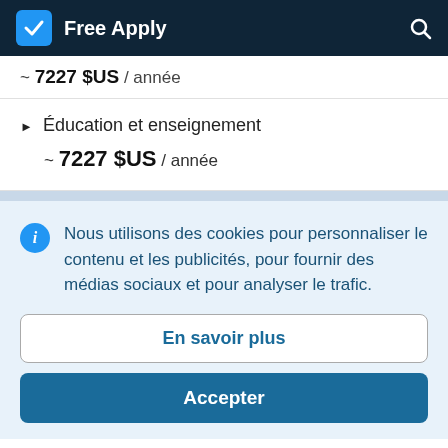Free Apply
~ 7227 $US / année
Éducation et enseignement
~ 7227 $US / année
Nous utilisons des cookies pour personnaliser le contenu et les publicités, pour fournir des médias sociaux et pour analyser le trafic.
En savoir plus
Accepter